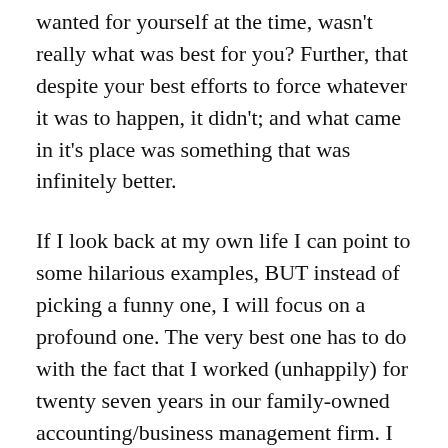wanted for yourself at the time, wasn't really what was best for you? Further, that despite your best efforts to force whatever it was to happen, it didn't; and what came in it's place was something that was infinitely better.
If I look back at my own life I can point to some hilarious examples, BUT instead of picking a funny one, I will focus on a profound one. The very best one has to do with the fact that I worked (unhappily) for twenty seven years in our family-owned accounting/business management firm. I can no longer count the number of tears I shed back then, feeling that I was hopelessly tethered to a job I hated and that I wasn't good at.